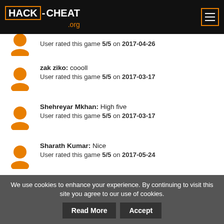HACK-CHEAT .org
User rated this game 5/5 on 2017-04-26
zak ziko: coooll
User rated this game 5/5 on 2017-03-17
Shehreyar Mkhan: High five
User rated this game 5/5 on 2017-03-17
Sharath Kumar: Nice
User rated this game 5/5 on 2017-05-24
We use cookies to enhance your experience. By continuing to visit this site you agree to our use of cookies.